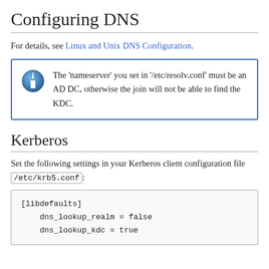Configuring DNS
For details, see Linux and Unix DNS Configuration.
The 'nameserver' you set in '/etc/resolv.conf' must be an AD DC, otherwise the join will not be able to find the KDC.
Kerberos
Set the following settings in your Kerberos client configuration file /etc/krb5.conf: